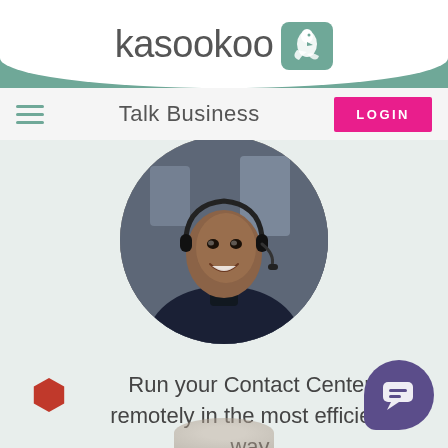[Figure (logo): Kasookoo brand logo with bird icon in teal square]
Talk Business
LOGIN
[Figure (photo): Smiling man wearing a headset and dark jacket, circular cropped portrait]
Run your Contact Center remotely in the most efficient way